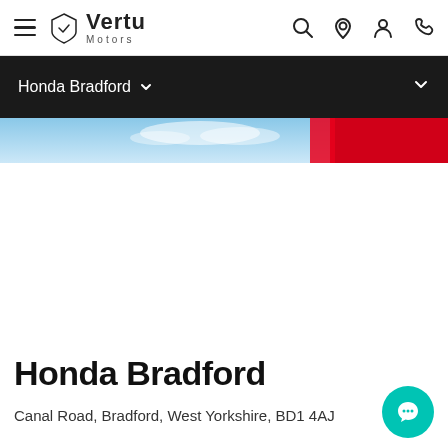Vertu Motors
Honda Bradford
[Figure (photo): Partial view of a red Honda car against a blue sky background]
Honda Bradford
Canal Road, Bradford, West Yorkshire, BD1 4AJ